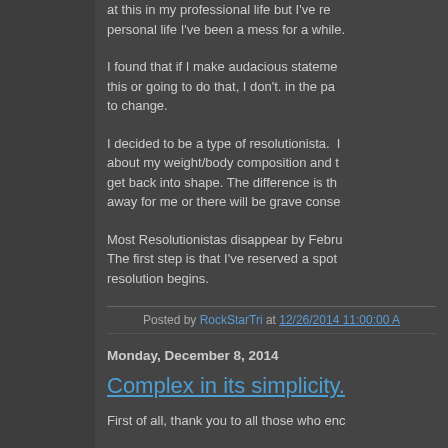at this in my professional life but I've real personal life I've been a mess for a while.
I found that if I make audacious statements this or going to do that, I don't. in the past to change.
I decided to be a type of resolutionista. I about my weight/body composition and to get back into shape. The difference is that away for me or there will be grave conse...
Most Resolutionistas disappear by Febru... The first step is that I've reserved a spot resolution begins.
Posted by RockStarTri at 12/26/2014 11:00:00 A
Monday, December 8, 2014
Complex in its simplicity.
First of all, thank you to all those who enc...